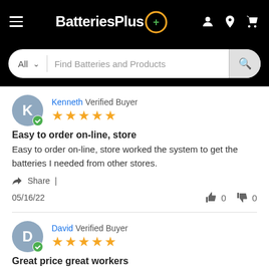BatteriesPlus
All  Find Batteries and Products
Kenneth Verified Buyer ★★★★★
Easy to order on-line, store
Easy to order on-line, store worked the system to get the batteries I needed from other stores.
Share |
05/16/22  👍 0  👎 0
David Verified Buyer ★★★★★
Great price great workers
Great price great workers